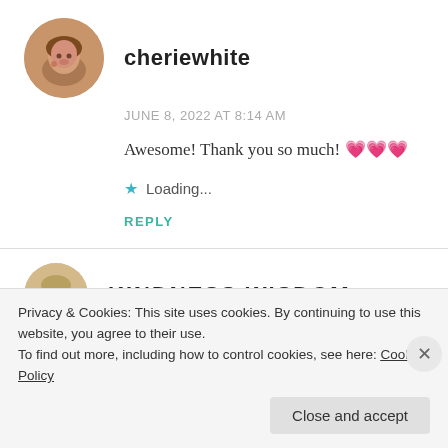[Figure (photo): Circular avatar photo of a woman with brown hair]
cheriewhite
JUNE 8, 2022 AT 8:14 AM
Awesome! Thank you so much! 💗💗💗
Loading...
REPLY
[Figure (photo): Circular avatar photo of a second commenter]
KINDNESS WISDOM
Privacy & Cookies: This site uses cookies. By continuing to use this website, you agree to their use.
To find out more, including how to control cookies, see here: Cookie Policy
Close and accept